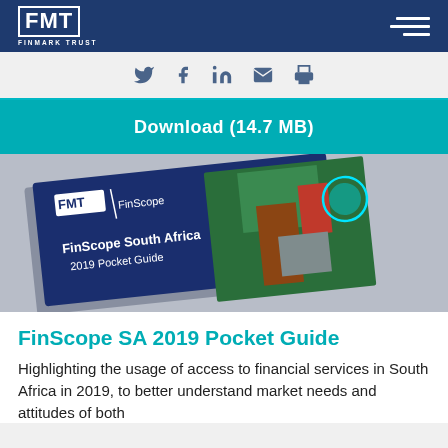FMT FINMARK TRUST
[Figure (screenshot): Social media sharing icons: Twitter, Facebook, LinkedIn, Email, Print]
Download (14.7 MB)
[Figure (photo): Photo of the FinScope South Africa 2019 Pocket Guide booklet cover with FMT | FinScope branding, placed on a grey background with an aerial photo visible on the cover.]
FinScope SA 2019 Pocket Guide
Highlighting the usage of access to financial services in South Africa in 2019, to better understand market needs and attitudes of both